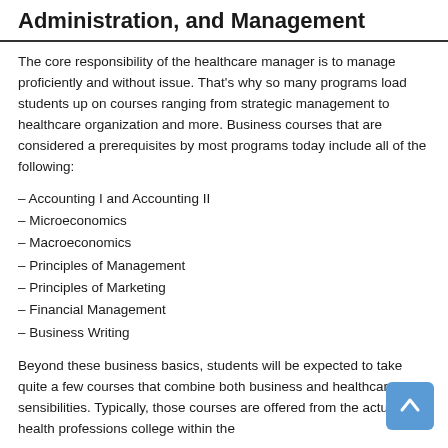Administration, and Management
The core responsibility of the healthcare manager is to manage proficiently and without issue. That’s why so many programs load students up on courses ranging from strategic management to healthcare organization and more. Business courses that are considered a prerequisites by most programs today include all of the following:
– Accounting I and Accounting II
– Microeconomics
– Macroeconomics
– Principles of Management
– Principles of Marketing
– Financial Management
– Business Writing
Beyond these business basics, students will be expected to take quite a few courses that combine both business and healthcare sensibilities. Typically, those courses are offered from the actual health professions college within the